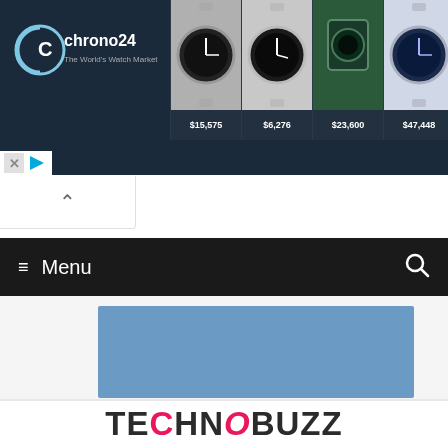[Figure (screenshot): Chrono24 advertisement banner showing watch marketplace with logo and four watch listings priced at $15,575, $6,276, $23,600, and $47,448]
[Figure (screenshot): Collapse caret/chevron button in white rounded rectangle]
≡ Menu
[Figure (other): Blue rectangle placeholder advertisement block]
[Figure (logo): TechnoBuzz logo with stylized lettering where C and O are in pink/magenta]
Samsung Galaxy S5 Wallpapers – Download